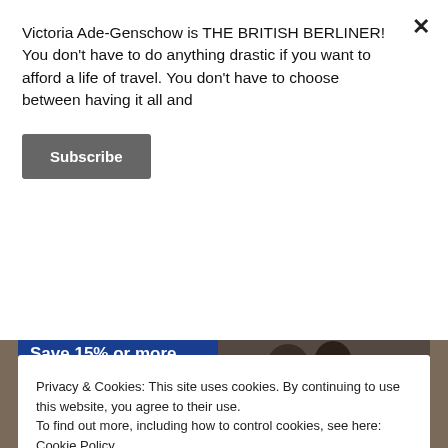Victoria Ade-Genschow is THE BRITISH BERLINER! You don't have to do anything drastic if you want to afford a life of travel. You don't have to choose between having it all and
Subscribe
[Figure (infographic): Travel advertisement banner with blue background on left showing 'Save 15% or more' text, 'Start planning your dream getaway with Getaway Deals.' subtext, and 'Discover deals' button. Right side shows photo of family (adults and child) looking at a phone.]
Privacy & Cookies: This site uses cookies. By continuing to use this website, you agree to their use.
To find out more, including how to control cookies, see here: Cookie Policy
Close and accept
Berlin